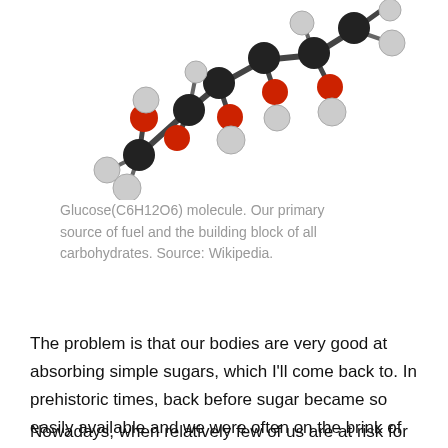[Figure (illustration): 3D ball-and-stick model of a Glucose (C6H12O6) molecule. Carbon atoms shown in dark/black, oxygen atoms in red, hydrogen atoms in white/gray.]
Glucose(C6H12O6) molecule. Our primary source of fuel and the building block of all carbohydrates. Source: Wikipedia.
The problem is that our bodies are very good at absorbing simple sugars, which I'll come back to. In prehistoric times, back before sugar became so easily available and we were often on the brink of starvation, this was a good thing and had survival value. It didn't just absorb quickly but we evolved to enjoy its taste so we could seek out this calorie-loaded life-saver.
Nowadays, when relatively few of us are at risk for